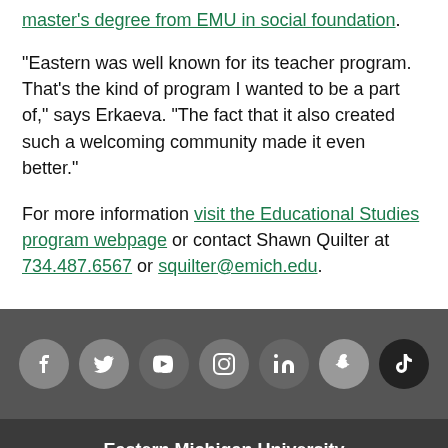master's degree from EMU in social foundation.
"Eastern was well known for its teacher program. That's the kind of program I wanted to be a part of," says Erkaeva. "The fact that it also created such a welcoming community made it even better."
For more information visit the Educational Studies program webpage or contact Shawn Quilter at 734.487.6567 or squilter@emich.edu.
[Figure (infographic): Social media icons row: Facebook, Twitter, YouTube, Instagram, LinkedIn, Snapchat, TikTok on dark grey background]
Eastern Michigan University
Ypsilanti, MI, USA 48197 |
734.487.1849 | Contacts